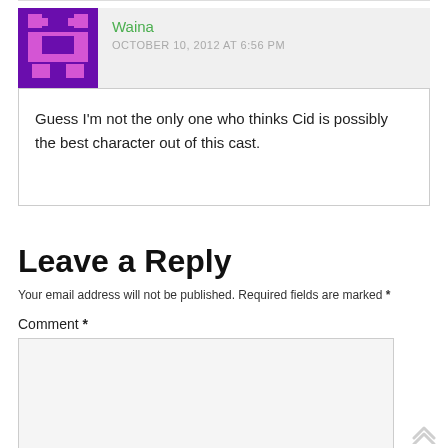[Figure (illustration): Pixel art avatar icon with purple background and magenta/pink pixel character shape]
Waina
OCTOBER 10, 2012 AT 6:56 PM
Guess I'm not the only one who thinks Cid is possibly the best character out of this cast.
Leave a Reply
Your email address will not be published. Required fields are marked *
Comment *